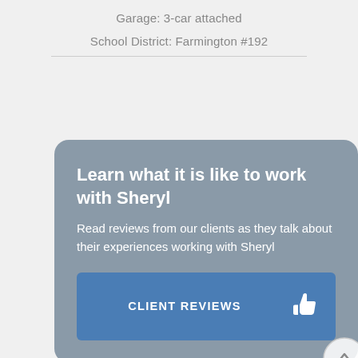Garage: 3-car attached
School District: Farmington #192
[Figure (infographic): Gray rounded card with heading 'Learn what it is like to work with Sheryl', subtext about reading client reviews, and a blue 'CLIENT REVIEWS' button with thumbs up icon. A circular scroll-up button overlaps the bottom-right corner of the card.]